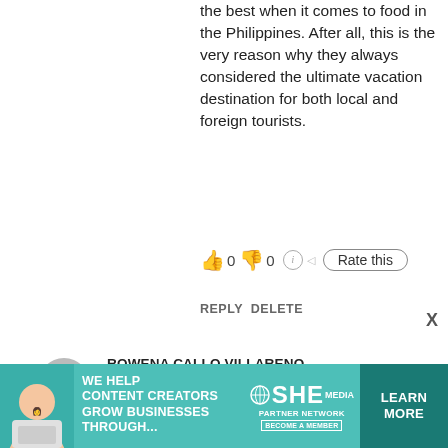the best when it comes to food in the Philippines. After all, this is the very reason why they always considered the ultimate vacation destination for both local and foreign tourists.
👍 0 👎 0 ℹ Rate this
REPLY  DELETE
ROWENA CALLO VILLARENO
11 JULY 2021 A
Thank you fo
kasi sa tv ko
ganda nama
Best island c
lugar na gus
👍 0 👎 0 ℹ Rate this
[Figure (infographic): Advertisement banner: teal background, woman with laptop, SHE media partner network logo, 'We help content creators grow businesses through...' text, Learn More button]